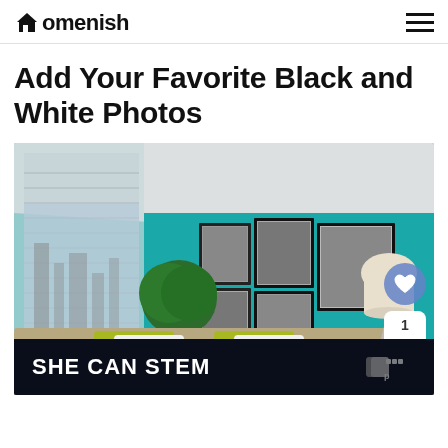Homenish
Add Your Favorite Black and White Photos
[Figure (photo): Bedroom interior with teal accent wall, black and white framed photos arranged in a gallery arrangement, green pillows on bed with teal throw blanket, potted round topiary tree near window with city view, and a tripod floor lamp]
[Figure (infographic): SHE CAN STEM advertisement banner in dark navy/black background with white bold text]